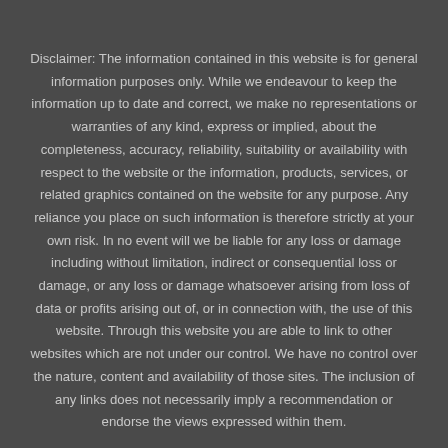Disclaimer: The information contained in this website is for general information purposes only. While we endeavour to keep the information up to date and correct, we make no representations or warranties of any kind, express or implied, about the completeness, accuracy, reliability, suitability or availability with respect to the website or the information, products, services, or related graphics contained on the website for any purpose. Any reliance you place on such information is therefore strictly at your own risk. In no event will we be liable for any loss or damage including without limitation, indirect or consequential loss or damage, or any loss or damage whatsoever arising from loss of data or profits arising out of, or in connection with, the use of this website. Through this website you are able to link to other websites which are not under our control. We have no control over the nature, content and availability of those sites. The inclusion of any links does not necessarily imply a recommendation or endorse the views expressed within them.